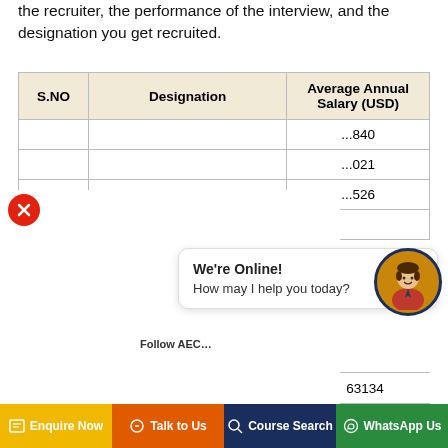the recruiter, the performance of the interview, and the designation you get recruited.
| S.NO | Designation | Average Annual Salary (USD) |
| --- | --- | --- |
|  |  | ...840 |
|  |  | ...021 |
|  |  | ...526 |
|  |  |  |
| 5 | Electrical Engineer | 63134 |
[Figure (screenshot): Chat popup with 'We're Online! How may I help you today?' message and avatar icon, with red close button]